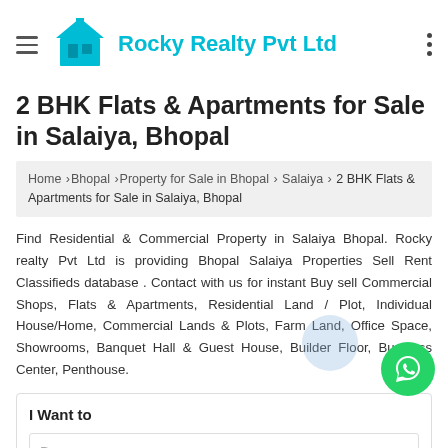Rocky Realty Pvt Ltd
2 BHK Flats & Apartments for Sale in Salaiya, Bhopal
Home › Bhopal › Property for Sale in Bhopal › Salaiya › 2 BHK Flats & Apartments for Sale in Salaiya, Bhopal
Find Residential & Commercial Property in Salaiya Bhopal. Rocky realty Pvt Ltd is providing Bhopal Salaiya Properties Sell Rent Classifieds database . Contact with us for instant Buy sell Commercial Shops, Flats & Apartments, Residential Land / Plot, Individual House/Home, Commercial Lands & Plots, Farm Land, Office Space, Showrooms, Banquet Hall & Guest House, Builder Floor, Business Center, Penthouse.
I Want to
Buy